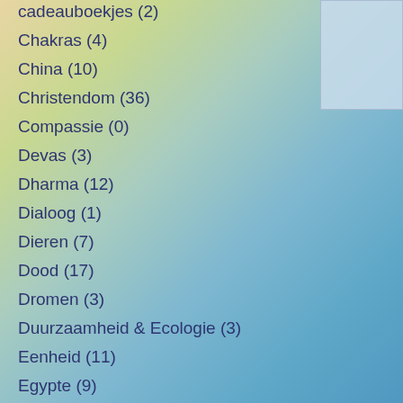cadeauboekjes (2)
Chakras (4)
China (10)
Christendom (36)
Compassie (0)
Devas (3)
Dharma (12)
Dialoog (1)
Dieren (7)
Dood (17)
Dromen (3)
Duurzaamheid & Ecologie (3)
Eenheid (11)
Egypte (9)
Elementenwezens (6)
Energie (1)
Engelen (3)